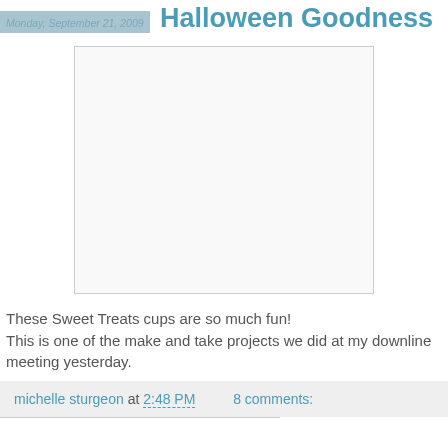Monday, September 21, 2009
Halloween Goodness
[Figure (photo): A blank/white image placeholder representing a photo of Sweet Treats cups Halloween project]
These Sweet Treats cups are so much fun!
This is one of the make and take projects we did at my downline meeting yesterday.
michelle sturgeon at 2:48 PM    8 comments: